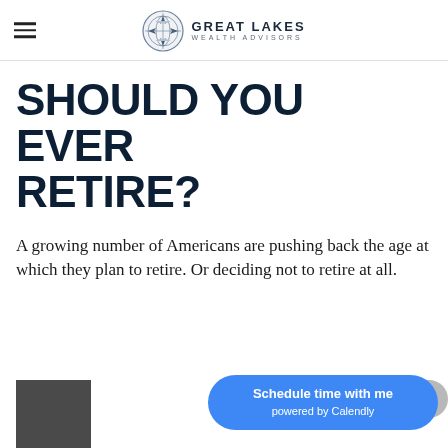GREAT LAKES WEALTH ADVISORS
SHOULD YOU EVER RETIRE?
A growing number of Americans are pushing back the age at which they plan to retire. Or deciding not to retire at all.
[Figure (logo): Great Lakes Wealth Advisors logo with compass/globe emblem]
[Figure (screenshot): Calendly scheduling button overlay and partial article thumbnail image]